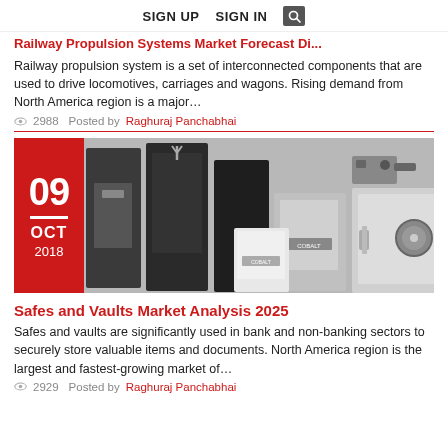SIGN UP   SIGN IN  🔍
Railway Propulsion Systems Market Forecast Di...
Railway propulsion system is a set of interconnected components that are used to drive locomotives, carriages and wagons. Rising demand from North America region is a major…
👁 2988   Posted by Raghuraj Panchabhai
[Figure (photo): Photo of multiple safes and vaults of various sizes and colors (black, gray, white) on a gray background, with a red date badge overlay showing 09 OCT 2018]
Safes and Vaults Market Analysis 2025
Safes and vaults are significantly used in bank and non-banking sectors to securely store valuable items and documents. North America region is the largest and fastest-growing market of…
👁 2929   Posted by Raghuraj Panchabhai